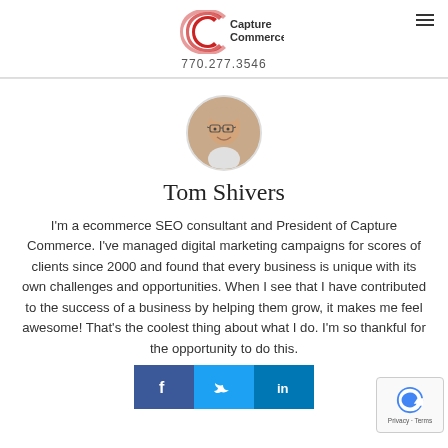Capture Commerce — 770.277.3546
[Figure (photo): Circular headshot photo of Tom Shivers, a man with glasses and short hair, smiling, wearing a light shirt]
Tom Shivers
I'm a ecommerce SEO consultant and President of Capture Commerce. I've managed digital marketing campaigns for scores of clients since 2000 and found that every business is unique with its own challenges and opportunities. When I see that I have contributed to the success of a business by helping them grow, it makes me feel awesome! That's the coolest thing about what I do. I'm so thankful for the opportunity to do this.
[Figure (other): Social sharing bar with Facebook, Twitter, and LinkedIn buttons]